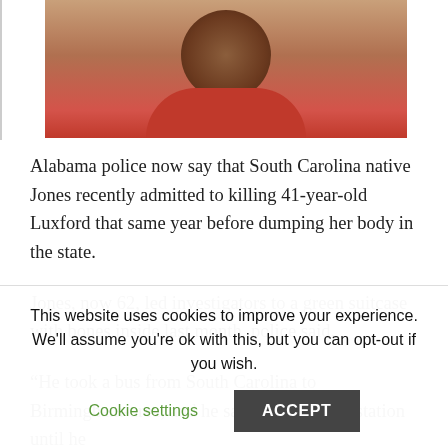[Figure (photo): A close-up photograph of a person's head/neck area, showing the top and back of the head with short brown hair, wearing a red garment. Appears to be a mugshot-style photo cropped at the top.]
Alabama police now say that South Carolina native Jones recently admitted to killing 41-year-old Luxford that same year before dumping her body in the state.
Jones, now 62, led investigators to a green suitcase with bones inside last month, police said.
“He took a bus from South Carolina to Birmingham-area, and he sat outside of our station until he
This website uses cookies to improve your experience. We’ll assume you’re ok with this, but you can opt-out if you wish.
Cookie settings  ACCEPT